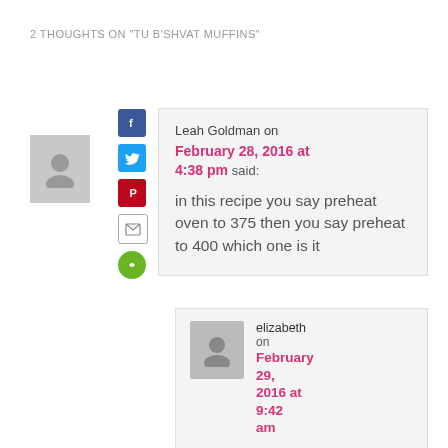2 THOUGHTS ON "TU B'SHVAT MUFFINS"
Leah Goldman on February 28, 2016 at 4:38 pm said:
in this recipe you say preheat oven to 375 then you say preheat to 400 which one is it
elizabeth on February 29, 2016 at 9:42 am